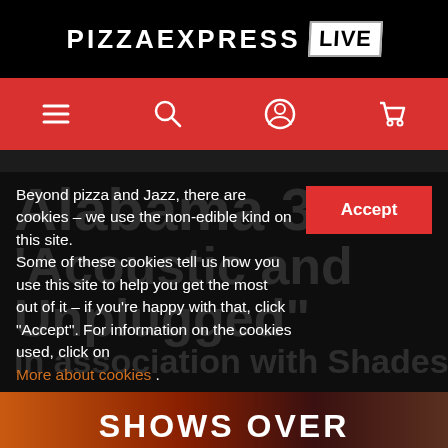PIZZAEXPRESS LIVE
[Figure (screenshot): Red navigation bar with hamburger menu, search icon, user account icon, and shopping cart icon]
Alabama 3 'Acoustic and Unplugged' In association with Shades of Soul
Beyond pizza and Jazz, there are cookies – we use the non-edible kind on this site. Some of these cookies tell us how you use this site to help you get the most out of it – if you're happy with that, click "Accept". For information on the cookies used, click on More about cookies .
[Figure (photo): Bottom strip showing partial concert/show imagery with text SHOWS OVER]